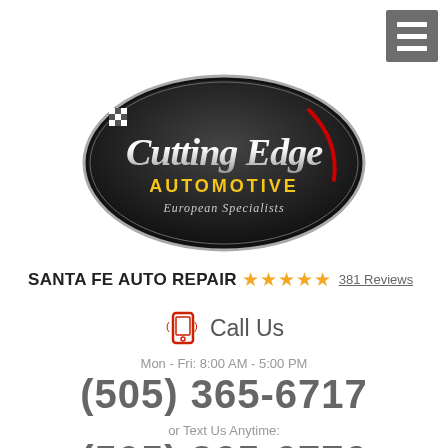[Figure (logo): Cutting Edge Automotive European Specialists oval logo with silver script lettering on dark background with racing flag motif]
SANTA FE AUTO REPAIR ★★★★★ 381 Reviews
Call Us
Mon - Fri: 8:00 AM - 5:00 PM
(505) 365-6717
or Text Us Anytime:
(505) 365-6776